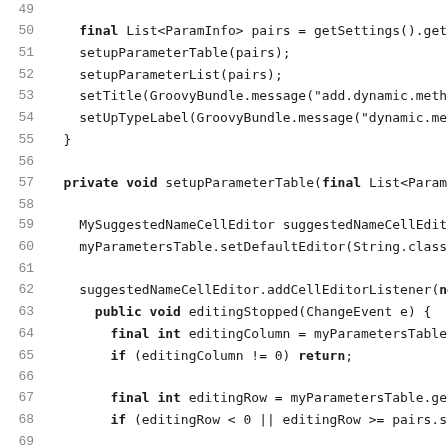[Figure (screenshot): Source code screenshot showing Java/Groovy code lines 49-81, with line numbers on the left and code on the right in monospace font. The code shows methods setupParameterTable and setupParameterList with cell editor listener logic.]